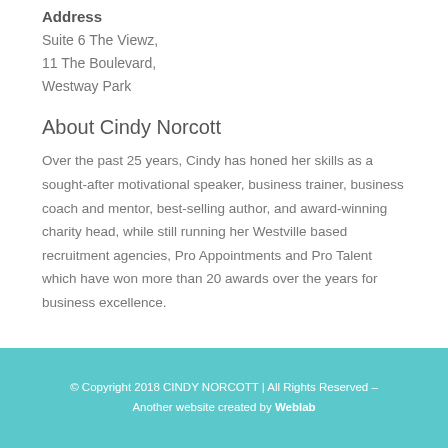Address
Suite 6 The Viewz,
11 The Boulevard,
Westway Park
About Cindy Norcott
Over the past 25 years, Cindy has honed her skills as a sought-after motivational speaker, business trainer, business coach and mentor, best-selling author, and award-winning charity head, while still running her Westville based recruitment agencies, Pro Appointments and Pro Talent which have won more than 20 awards over the years for business excellence.
© Copyright 2018 CINDY NORCOTT | All Rights Reserved – Another website created by Weblab